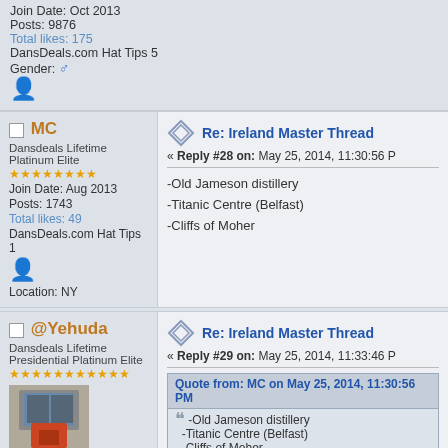Join Date: Oct 2013
Posts: 9876
Total likes: 175
DansDeals.com Hat Tips 5
Gender: ♂
MC
Dansdeals Lifetime Platinum Elite
Join Date: Aug 2013
Posts: 1743
Total likes: 49
DansDeals.com Hat Tips 1
Location: NY
Re: Ireland Master Thread
« Reply #28 on: May 25, 2014, 11:30:56 PM »
-Old Jameson distillery
-Titanic Centre (Belfast)
-Cliffs of Moher
@Yehuda
Dansdeals Lifetime Presidential Platinum Elite
Re: Ireland Master Thread
« Reply #29 on: May 25, 2014, 11:33:46 PM »
Quote from: MC on May 25, 2014, 11:30:56 PM
-Old Jameson distillery
-Titanic Centre (Belfast)
-Cliffs of Moher
Thanks!